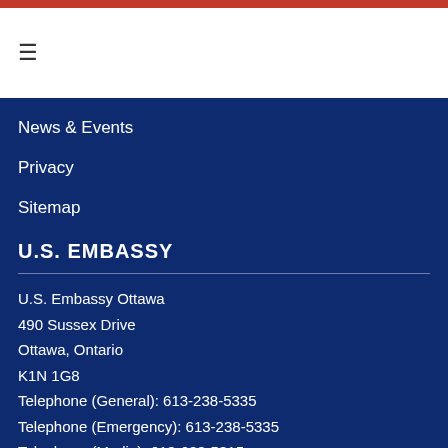☰
News & Events
Privacy
Sitemap
U.S. EMBASSY
U.S. Embassy Ottawa
490 Sussex Drive
Ottawa, Ontario
K1N 1G8
Telephone (General): 613-238-5335
Telephone (Emergency): 613-238-5335
Telephone (Media): 613-688-5315
Fax: 613-241-7845